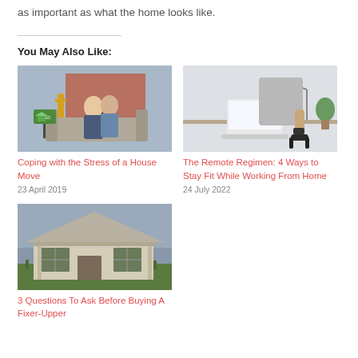as important as what the home looks like.
You May Also Like:
[Figure (photo): Couple sitting on a sofa outdoors in front of a house with a SOLD sign]
Coping with the Stress of a House Move
23 April 2019
[Figure (photo): Person at a desk with a laptop holding a dumbbell weight]
The Remote Regimen: 4 Ways to Stay Fit While Working From Home
24 July 2022
[Figure (photo): Abandoned old wooden house with overgrown grass]
3 Questions To Ask Before Buying A Fixer-Upper